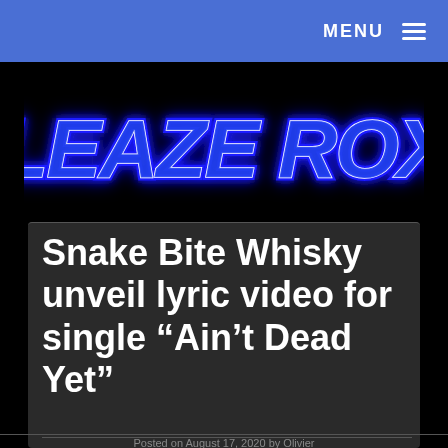MENU ≡
[Figure (logo): Sleaze Roxx logo in neon blue glowing text on black background]
Snake Bite Whisky unveil lyric video for single “Ain’t Dead Yet”
Posted on August 17, 2020 by Olivier